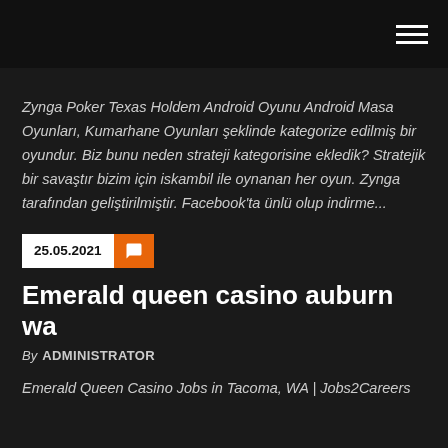Zynga Poker Texas Holdem Android Oyunu Android Masa Oyunları, Kumarhane Oyunları şeklinde kategorize edilmiş bir oyundur. Biz bunu neden strateji kategorisine ekledik? Stratejik bir savaştır bizim için iskambil ile oynanan her oyun. Zynga tarafından geliştirilmiştir. Facebook'ta ünlü olup indirme...
25.05.2021
Emerald queen casino auburn wa
By ADMINISTRATOR
Emerald Queen Casino Jobs in Tacoma, WA | Jobs2Careers